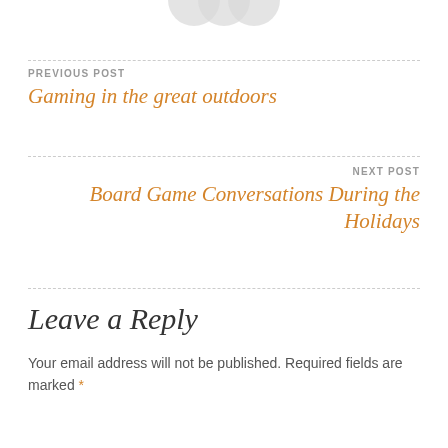[Figure (illustration): Partial view of social media sharing icons (circles) at the top of the page, cropped]
PREVIOUS POST
Gaming in the great outdoors
NEXT POST
Board Game Conversations During the Holidays
Leave a Reply
Your email address will not be published. Required fields are marked *